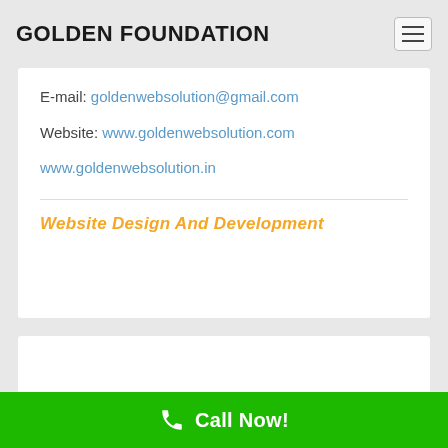GOLDEN FOUNDATION
E-mail: goldenwebsolution@gmail.com
Website: www.goldenwebsolution.com
www.goldenwebsolution.in
Website Design And Development
Comments are closed.
Call Now!